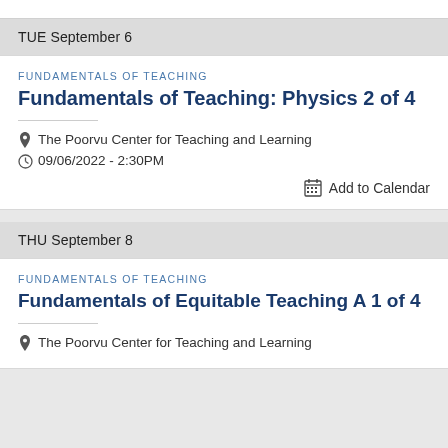TUE September 6
FUNDAMENTALS OF TEACHING
Fundamentals of Teaching: Physics 2 of 4
The Poorvu Center for Teaching and Learning
09/06/2022 - 2:30PM
Add to Calendar
THU September 8
FUNDAMENTALS OF TEACHING
Fundamentals of Equitable Teaching A 1 of 4
The Poorvu Center for Teaching and Learning